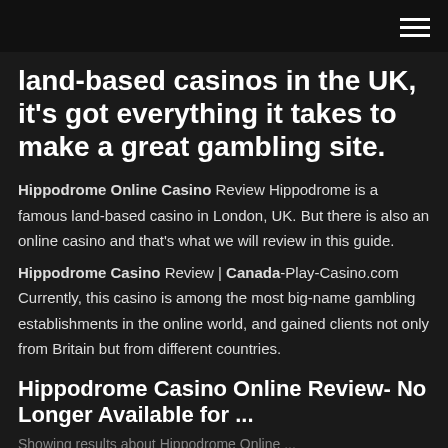[navigation bar with hamburger menu]
land-based casinos in the UK, it's got everything it takes to make a great gambling site.
Hippodrome Online Casino Review Hippodrome is a famous land-based casino in London, UK. But there is also an online casino and that's what we will review in this guide.
Hippodrome Casino Review | Canada-Play-Casino.com Currently, this casino is among the most big-name gambling establishments in the online world, and gained clients not only from Britain but from different countries.
Hippodrome Casino Online Review- No Longer Available for ...
...